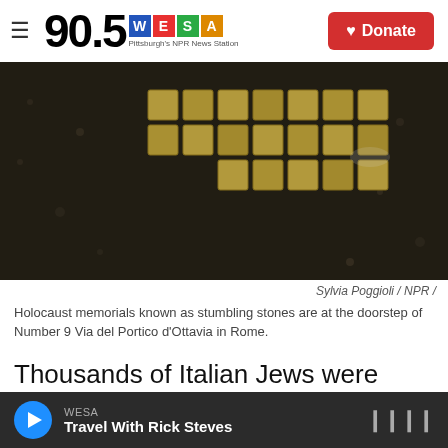90.5 WESA Pittsburgh's NPR News Station | Donate
[Figure (photo): Holocaust memorial stumbling stones embedded in dark cobblestone pavement at Number 9 Via del Portico d'Ottavia in Rome. The gold/brass square plaques are arranged in a grid pattern.]
Sylvia Poggioli / NPR /
Holocaust memorials known as stumbling stones are at the doorstep of Number 9 Via del Portico d'Ottavia in Rome.
Thousands of Italian Jews were arrested during the Nazi occupation. In front of many doorways, small square brass plaques are embedded among the
WESA — Travel With Rick Steves